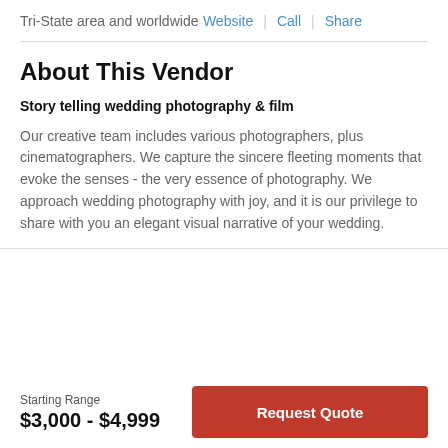Tri-State area and worldwide
Website | Call | Share
About This Vendor
Story telling wedding photography & film
Our creative team includes various photographers, plus cinematographers. We capture the sincere fleeting moments that evoke the senses - the very essence of photography. We approach wedding photography with joy, and it is our privilege to share with you an elegant visual narrative of your wedding.
Starting Range
$3,000 - $4,999
Request Quote